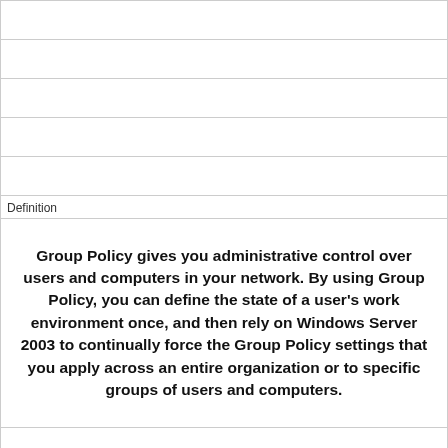Definition
Group Policy gives you administrative control over users and computers in your network. By using Group Policy, you can define the state of a user's work environment once, and then rely on Windows Server 2003 to continually force the Group Policy settings that you apply across an entire organization or to specific groups of users and computers.
Term
What is the order in which GPOs are applied?